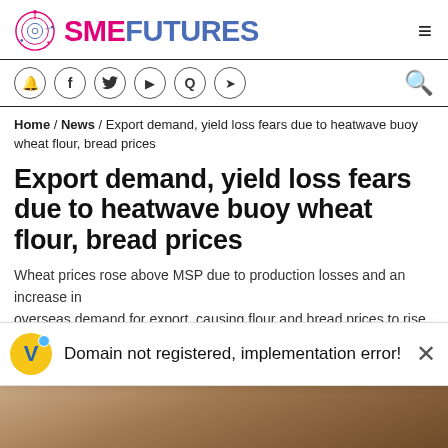SME FUTURES
Social icons: bell, facebook, twitter, youtube, quora, telegram | search icon
Home / News / Export demand, yield loss fears due to heatwave buoy wheat flour, bread prices
Export demand, yield loss fears due to heatwave buoy wheat flour, bread prices
Wheat prices rose above MSP due to production losses and an increase in overseas demand for export, causing flour and bread prices to rise
Parul  May 10, 2022
Domain not registered, implementation error!